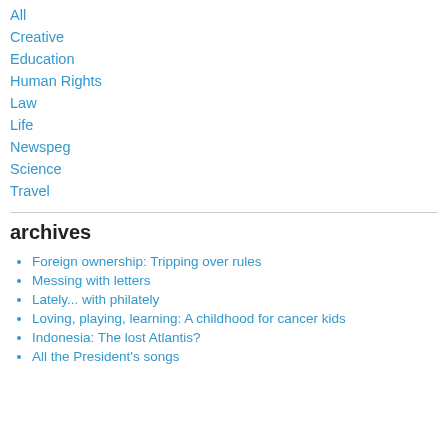All
Creative
Education
Human Rights
Law
Life
Newspeg
Science
Travel
archives
Foreign ownership: Tripping over rules
Messing with letters
Lately... with philately
Loving, playing, learning: A childhood for cancer kids
Indonesia: The lost Atlantis?
All the President's songs